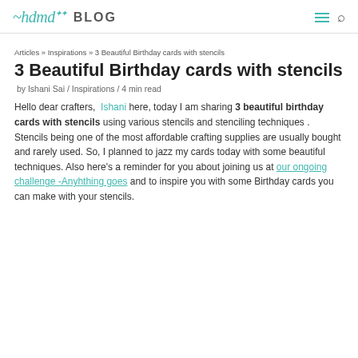hdmd BLOG
Articles » Inspirations » 3 Beautiful Birthday cards with stencils
3 Beautiful Birthday cards with stencils
by Ishani Sai / Inspirations / 4 min read
Hello dear crafters, Ishani here, today I am sharing 3 beautiful birthday cards with stencils using various stencils and stenciling techniques . Stencils being one of the most affordable crafting supplies are usually bought and rarely used. So, I planned to jazz my cards today with some beautiful techniques. Also here's a reminder for you about joining us at our ongoing challenge -Anyhthing goes and to inspire you with some Birthday cards you can make with your stencils.